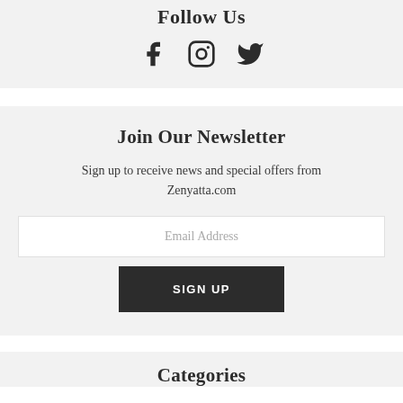Follow Us
[Figure (illustration): Social media icons: Facebook, Instagram, Twitter]
Join Our Newsletter
Sign up to receive news and special offers from Zenyatta.com
Email Address
SIGN UP
Categories